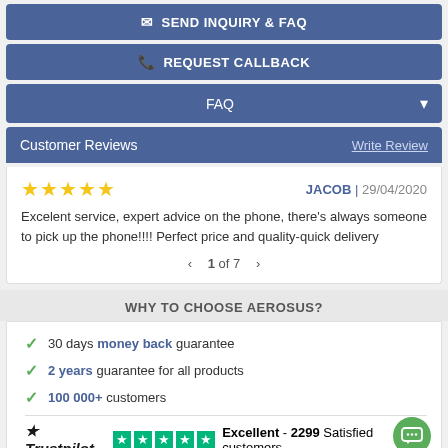✉ SEND INQUIRY & FAQ
📞 REQUEST CALLBACK
FAQ
Customer Reviews | Write Review
★★★★★ JACOB | 29/04/2020
Excelent service, expert advice on the phone, there's always someone to pick up the phone!!!! Perfect price and quality-quick delivery
< 1 of 7 >
WHY TO CHOOSE AEROSUS?
30 days money back guarantee
2 years guarantee for all products
100 000+ customers
Trustpilot ★★★★★ Excellent - 2299 Satisfied customers